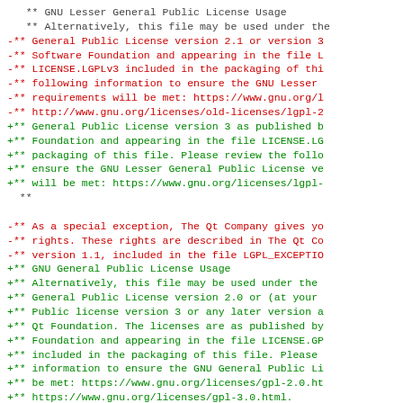Code diff showing GNU Lesser General Public License and GNU General Public License usage comment block changes